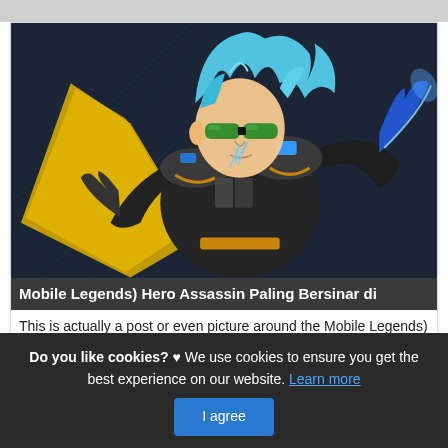[Figure (illustration): Mobile Legends game hero character – an assassin with blue spiky hair, green goggles, dark armored suit with gold trim, holding a glowing blue weapon, flying with a yellow cape against a dark sci-fi background.]
Mobile Legends) Hero Assassin Paling Bersinar di
This is actually a post or even picture around the Mobile Legends) Hero Assassin Paling Bersinar di Season 10, if you desire even more info around the short post or even
Do you like cookies? ♥ We use cookies to ensure you get the best experience on our website. Learn more
I agree